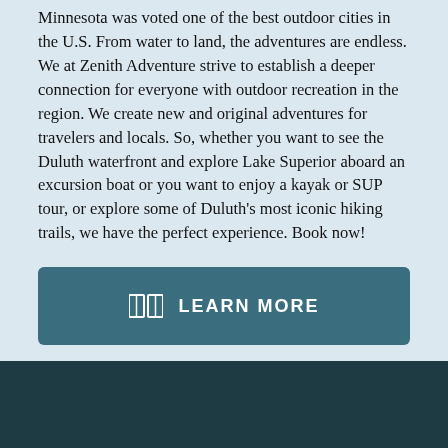Minnesota was voted one of the best outdoor cities in the U.S. From water to land, the adventures are endless. We at Zenith Adventure strive to establish a deeper connection for everyone with outdoor recreation in the region. We create new and original adventures for travelers and locals. So, whether you want to see the Duluth waterfront and explore Lake Superior aboard an excursion boat or you want to enjoy a kayak or SUP tour, or explore some of Duluth's most iconic hiking trails, we have the perfect experience. Book now!
[Figure (other): A teal/dark blue rectangular button with a book icon and the text LEARN MORE in white uppercase letters]